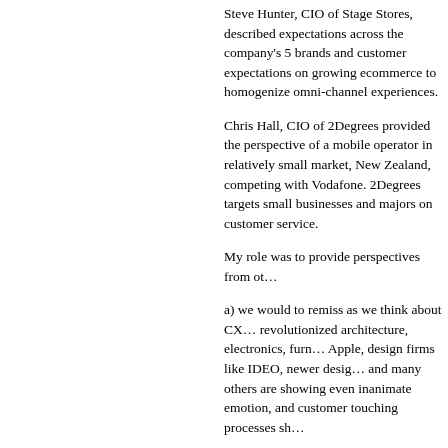Steve Hunter, CIO of Stage Stores, described expectations across the company's 5 brands and customer expectations on growing ecommerce to homogenize omni-channel experiences.
Chris Hall, CIO of 2Degrees provided the perspective of a mobile operator in relatively small market, New Zealand, competing with Vodafone. 2Degrees targets small businesses and majors on customer service.
My role was to provide perspectives from ot…
a) we would to remiss as we think about CX… revolutionized architecture, electronics, furn… Apple, design firms like IDEO, newer desig… and many others are showing even inanimate emotion, and customer touching processes sh…
b) Mark Hurd, President of Oracle, in his key… on technology now matches that of enterpris… expects similar in aesthetics, ergonomics and… And is prepared to reward companies when t… long lines to tour the Burj-Khalifa in Dubai a…
c) My interviews of several German compan…